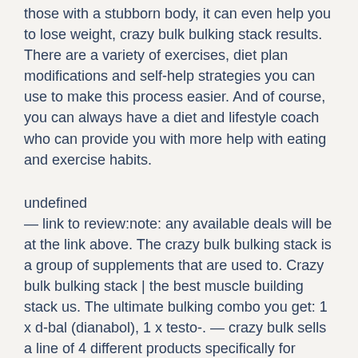those with a stubborn body, it can even help you to lose weight, crazy bulk bulking stack results. There are a variety of exercises, diet plan modifications and self-help strategies you can use to make this process easier. And of course, you can always have a diet and lifestyle coach who can provide you with more help with eating and exercise habits.
undefined
— link to review:note: any available deals will be at the link above. The crazy bulk bulking stack is a group of supplements that are used to. Crazy bulk bulking stack | the best muscle building stack us. The ultimate bulking combo you get: 1 x d-bal (dianabol), 1 x testo-. — crazy bulk sells a line of 4 different products specifically for building muscle and gaining strength. They also offers a bulking stack that. The crazybulk bulking stack comprises these 4 most